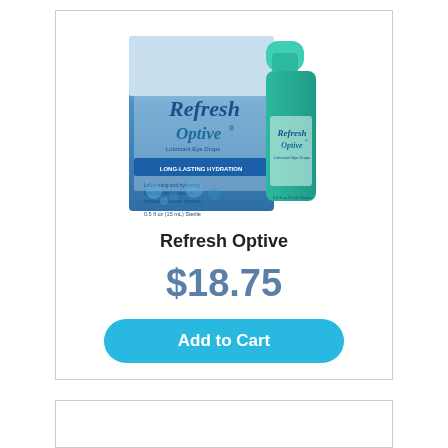[Figure (photo): Refresh Optive lubricant eye drops product box and bottle. The box is blue and white with 'Refresh Optive Lubricant Eye Drops' branding and 'Long-Lasting Hydration' banner. Beside it is a teal/green dropper bottle also labeled Refresh Optive. Size: 0.5 fl oz (15 mL) Sterile.]
Refresh Optive
$18.75
Add to Cart